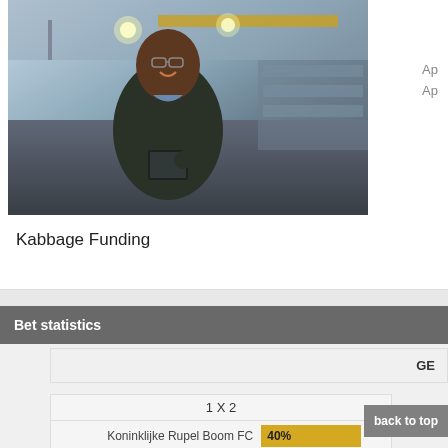[Figure (photo): A smiling man in work clothes holding a tablet in an industrial warehouse setting]
Ap
Ap
Kabbage Funding
Bet statistics
GE
|  | 1 X 2 |
| --- | --- |
| Koninklijke Rupel Boom FC | 40% |
| draw | 20% |
back to top